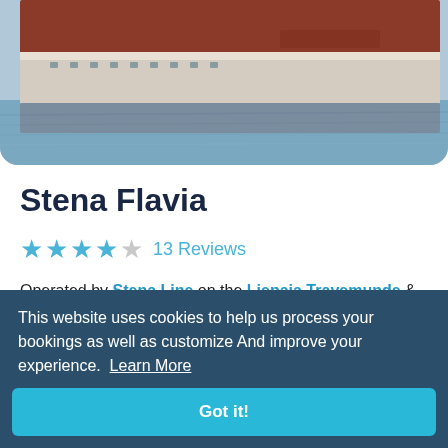[Figure (photo): Photograph of a large ferry ship (Stena Flavia) on water, showing the hull and water reflection, cropped at top.]
Stena Flavia
★★★★☆ 13 Reviews
Operated by Stena Line on the Liepaja Travemunde & Nynashamn Ventspils routes
Previously named Watling Street, the Stena Flavia has a passenger capacity of 830 and its vehicle deck
This website uses cookies to help us process your bookings as well as customize And improve your experience. Learn More
Got it!